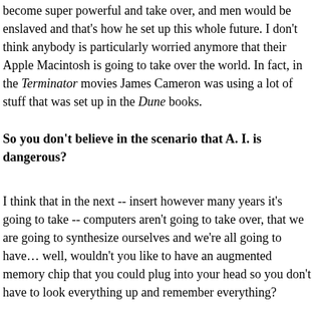become super powerful and take over, and men would be enslaved and that's how he set up this whole future. I don't think anybody is particularly worried anymore that their Apple Macintosh is going to take over the world. In fact, in the Terminator movies James Cameron was using a lot of stuff that was set up in the Dune books.
So you don't believe in the scenario that A. I. is dangerous?
I think that in the next -- insert however many years it's going to take -- computers aren't going to take over, that we are going to synthesize ourselves and we're all going to have… well, wouldn't you like to have an augmented memory chip that you could plug into your head so you don't have to look everything up and remember everything?